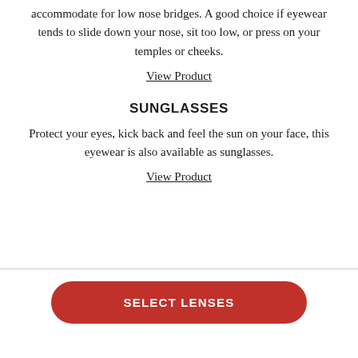accommodate for low nose bridges. A good choice if eyewear tends to slide down your nose, sit too low, or press on your temples or cheeks.
View Product
SUNGLASSES
Protect your eyes, kick back and feel the sun on your face, this eyewear is also available as sunglasses.
View Product
SELECT LENSES